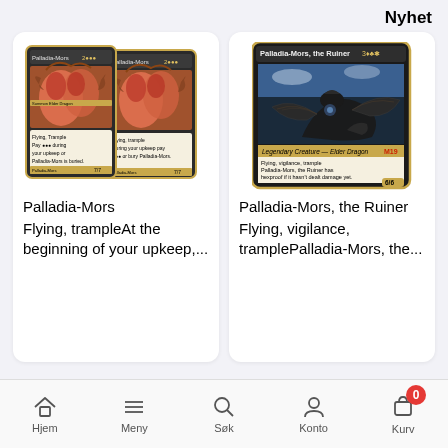Nyhet
[Figure (illustration): Two overlapping Magic: The Gathering cards showing old artwork of Palladia-Mors dragon creature]
Palladia-Mors
Flying, trampleAt the beginning of your upkeep,...
[Figure (illustration): Magic: The Gathering card showing Palladia-Mors, the Ruiner with dragon artwork, Legendary Creature - Elder Dragon, 6/6]
Palladia-Mors, the Ruiner
Flying, vigilance, tramplePalladia-Mors, the...
Hjem  Meny  Søk  Konto  Kurv